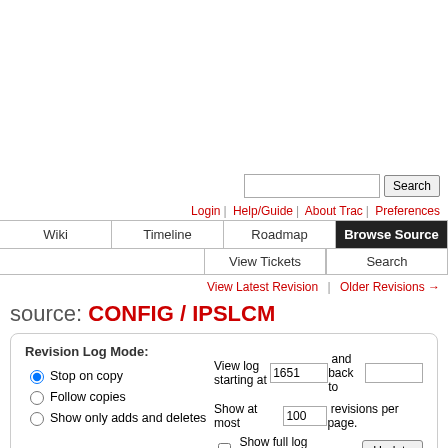[Figure (screenshot): Search bar with text input and Search button]
Login | Help/Guide | About Trac | Preferences
Wiki | Timeline | Roadmap | Browse Source | View Tickets | Search
View Latest Revision | Older Revisions →
source: CONFIG / IPSLCM
Revision Log Mode: Stop on copy / Follow copies / Show only adds and deletes | View log starting at 1651 and back to | Show at most 100 revisions per page. | Show full log messages | Update
Added   Modified   Copied or renamed
View changes